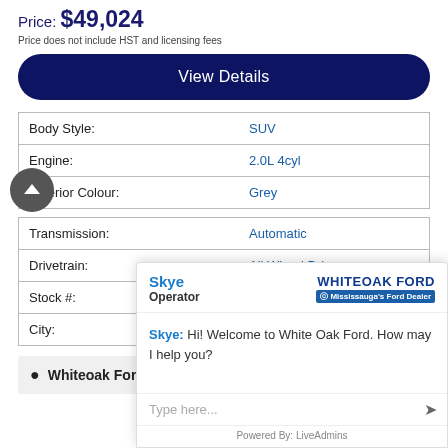Price: $49,024
Price does not include HST and licensing fees
View Details
|  |  |
| --- | --- |
| Body Style: | SUV |
| Engine: | 2.0L 4cyl |
| Exterior Colour: | Grey |
|  |  |
| --- | --- |
| Transmission: | Automatic |
| Drivetrain: | All Wheel Drive |
| Stock #: |  |
| City: |  |
Whiteoak Ford
[Figure (screenshot): Live chat widget overlay showing Skye operator from Whiteoak Ford, with greeting message 'Hi! Welcome to White Oak Ford. How may I help you?' and a text input field. Powered by LiveAdmins.]